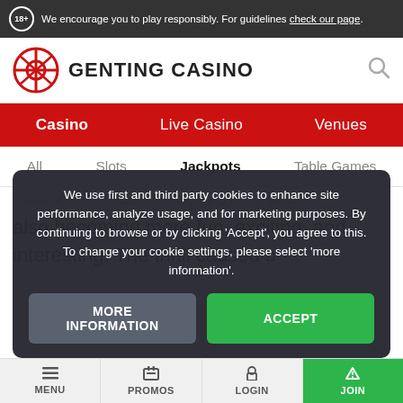18+ We encourage you to play responsibly. For guidelines check our page.
[Figure (logo): Genting Casino logo with red circular emblem and GENTING CASINO text, plus search icon]
Casino | Live Casino | Venues
All | Slots | Jackpots | Table Games
also becoming more fun, exciting, and interesting. The thrill caused b
We use first and third party cookies to enhance site performance, analyze usage, and for marketing purposes. By continuing to browse or by clicking 'Accept', you agree to this. To change your cookie settings, please select 'more information'.
MENU | PROMOS | LOGIN | JOIN